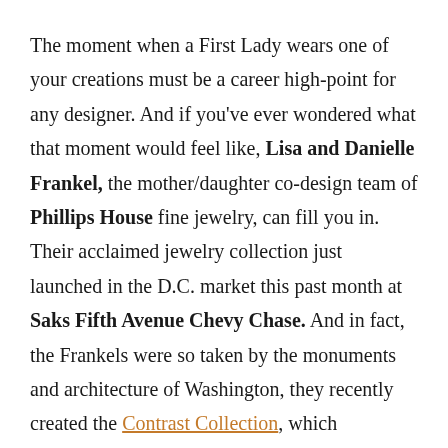The moment when a First Lady wears one of your creations must be a career high-point for any designer. And if you've ever wondered what that moment would feel like, Lisa and Danielle Frankel, the mother/daughter co-design team of Phillips House fine jewelry, can fill you in. Their acclaimed jewelry collection just launched in the D.C. market this past month at Saks Fifth Avenue Chevy Chase. And in fact, the Frankels were so taken by the monuments and architecture of Washington, they recently created the Contrast Collection, which showcases both hammered gold and diamonds and is inspired by the D.C. landscape. Racked DC chatted with the duo about their work, and where they were the exact moment when they discovered that Michelle Obama would wear Phillips House earrings to meet Princess Kate for the